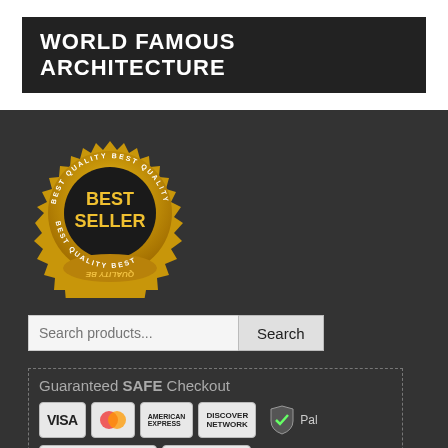WORLD FAMOUS ARCHITECTURE
[Figure (illustration): Gold Best Seller badge/seal with spiky border, dark interior circle with text BEST SELLER in bold, surrounded by BEST QUALITY text repeated around the ring]
Search products...
[Figure (infographic): Guaranteed SAFE Checkout section with payment logos: VISA, MasterCard, American Express, Discover Network, plus security badges for SSL Secure Connection, McAfee SECURE, and Verified & Secured]